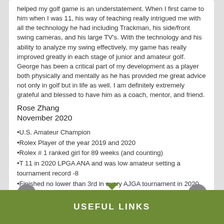helped my golf game is an understatement. When I first came to him when I was 11, his way of teaching really intrigued me with all the technology he had including Trackman, his side/front swing cameras, and his large TV's. With the technology and his ability to analyze my swing effectively, my game has really improved greatly in each stage of junior and amateur golf. George has been a critical part of my development as a player both physically and mentally as he has provided me great advice not only in golf but in life as well. I am definitely extremely grateful and blessed to have him as a coach, mentor, and friend.
Rose Zhang
November 2020
•U.S. Amateur Champion
•Rolex Player of the year 2019 and 2020
•Rolex # 1 ranked girl for 89 weeks (and counting)
•T 11 in 2020 LPGA ANA and was low amateur setting a tournament record -8
•Finished no lower than 3rd in every AJGA tournament in 2020
•2021 Stanford commitment
USEFUL LINKS